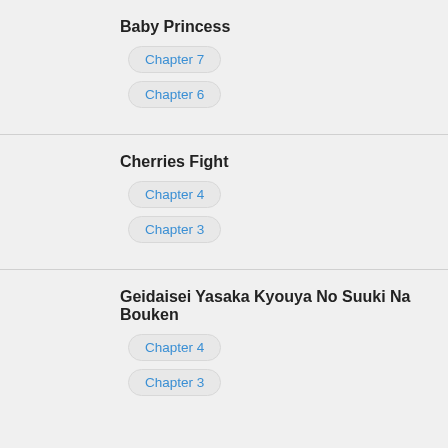Baby Princess
Chapter 7
Chapter 6
Cherries Fight
Chapter 4
Chapter 3
Geidaisei Yasaka Kyouya No Suuki Na Bouken
Chapter 4
Chapter 3